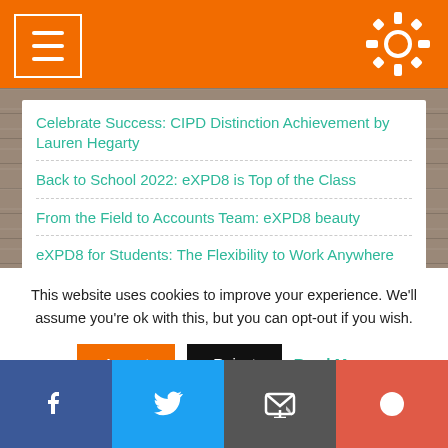Navigation header with menu and settings icons
Celebrate Success: CIPD Distinction Achievement by Lauren Hegarty
Back to School 2022: eXPD8 is Top of the Class
From the Field to Accounts Team: eXPD8 beauty
eXPD8 for Students: The Flexibility to Work Anywhere
@expd8_fm
@eXPD8_fm: Internal communications
This website uses cookies to improve your experience. We'll assume you're ok with this, but you can opt-out if you wish.
Facebook Twitter Email More social share buttons